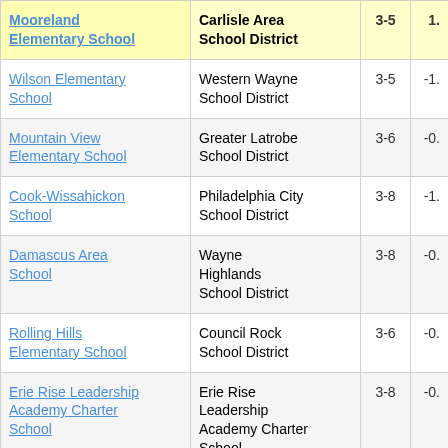| School Name | District | Grades | Score |
| --- | --- | --- | --- |
| Mooreland Elementary School | Carlisle Area School District | 3-5 | 1. |
| Wilson Elementary School | Western Wayne School District | 3-5 | -1. |
| Mountain View Elementary School | Greater Latrobe School District | 3-6 | -0. |
| Cook-Wissahickon School | Philadelphia City School District | 3-8 | -1. |
| Damascus Area School | Wayne Highlands School District | 3-8 | -0. |
| Rolling Hills Elementary School | Council Rock School District | 3-6 | -0. |
| Erie Rise Leadership Academy Charter School | Erie Rise Leadership Academy Charter School | 3-8 | -0. |
| Mastery Charter | Mastery Charter School |  |  |